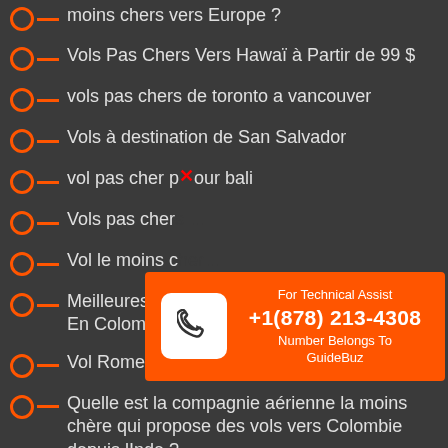moins chers vers Europe ?
Vols Pas Chers Vers Hawaï à Partir de 99 $
vols pas chers de toronto a vancouver
Vols à destination de San Salvador
vol pas cher pour bali
Vols pas chers…
Vol le moins c…
Meilleures Compagnies Aériennes Pour Aller En Colombie
Vol Rome pas cher Ryanair
Quelle est la compagnie aérienne la moins chère qui propose des vols vers Colombie depuis lInde ?
Vols pas chers vers Rome
[Figure (infographic): Orange popup overlay with phone icon in white rounded square, text: For Technical Assist +1(878) 213-4308 Number Belongs To GuideBuz]